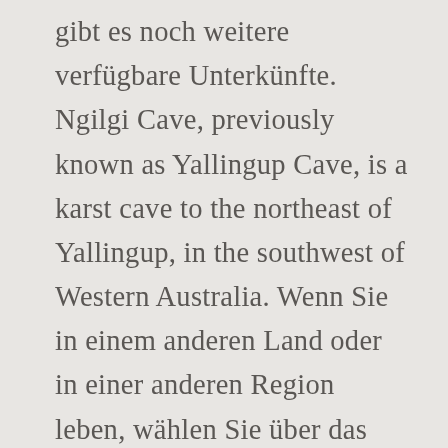gibt es noch weitere verfügbare Unterkünfte. Ngilgi Cave, previously known as Yallingup Cave, is a karst cave to the northeast of Yallingup, in the southwest of Western Australia. Wenn Sie in einem anderen Land oder in einer anderen Region leben, wählen Sie über das Drop-down-Menü bitte die Tripadvisor-Website in der entsprechenden Sprache aus. Bietet Yallingup Beach Holiday Park einen schönen Ausblick? Yallingup Beach Holiday Park View Profile The ultimate beach holiday destination, with an idyllic waterfront location boasting spectacular views over Yallingup Beach. Why 5 stars, when you can sleep under a million. Photo: SeanMack, CC BY 3.0, Yallingup Beach